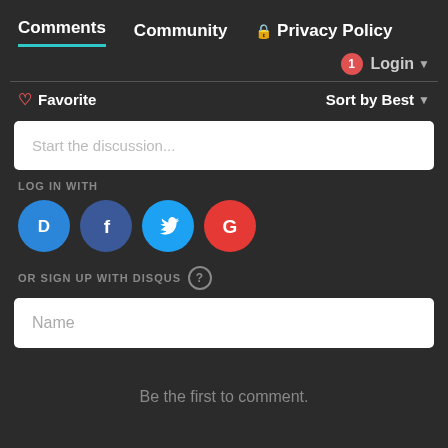Comments  Community  🔒 Privacy Policy
1  Login ▾
♡ Favorite   Sort by Best ▾
Start the discussion...
LOG IN WITH
[Figure (other): Social login icons: Disqus (blue circle with D), Facebook (dark blue circle with f), Twitter (light blue circle with bird), Google (red circle with G)]
OR SIGN UP WITH DISQUS ?
Name
Be the first to comment.